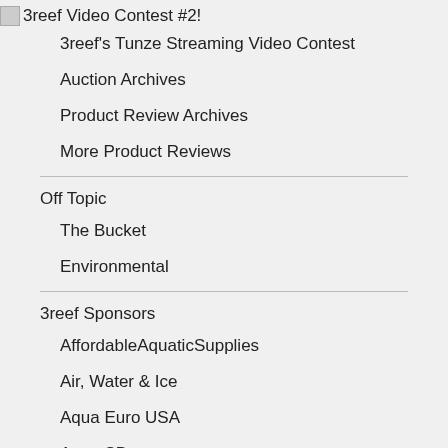3reef Video Contest #2!
3reef's Tunze Streaming Video Contest
Auction Archives
Product Review Archives
More Product Reviews
Off Topic
The Bucket
Environmental
3reef Sponsors
AffordableAquaticSupplies
Air, Water & Ice
Aqua Euro USA
Aqua SD
Big Al's Online
Chill Solutions
CPR Aquatic
DrTim's Aquatics